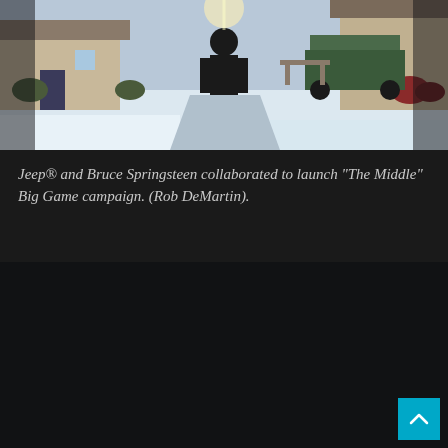[Figure (photo): A person standing on a snow-covered suburban street or driveway in winter, with houses, shrubs, and a vehicle visible in the background. The scene is bright with snow on the ground and sunlight.]
Jeep® and Bruce Springsteen collaborated to launch "The Middle" Big Game campaign. (Rob DeMartin).
[Figure (photo): A dark, mostly black image — appears to be a second photo or video frame that is very underexposed or a dark scene, with a small cyan/blue scroll-to-top button in the bottom-right corner.]